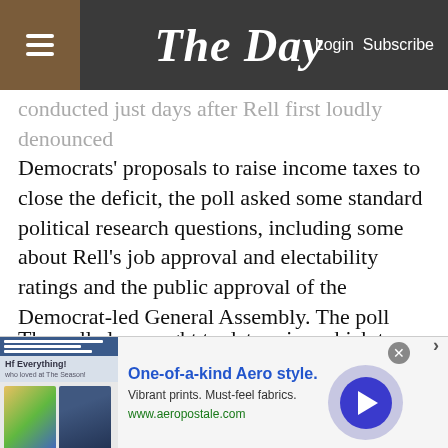The Day — Login Subscribe
conducted just days after Rell first loudly denounced Democrats' proposals to raise income taxes to close the deficit, the poll asked some standard political research questions, including some about Rell's job approval and electability ratings and the public approval of the Democrat-led General Assembly. The poll also sought to determine which tax increases voters might not object to and whether a protracted standoff over state spending would lower the governor's 70 percent approval rating.
The poll also sought to determine which tax increases voters might not object to and whether a protracted
[Figure (screenshot): Advertisement banner for Aeropostale: 'One-of-a-kind Aero style. Vibrant prints. Must-feel fabrics. www.aeropostale.com' with images of people and clothing.]